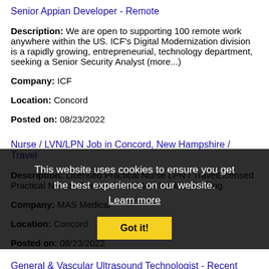Senior Appian Developer - Remote
Description: We are open to supporting 100 remote work anywhere within the US. ICF's Digital Modernization division is a rapidly growing, entrepreneurial, technology department, seeking a Senior Security Analyst (more...)
Company: ICF
Location: Concord
Posted on: 08/23/2022
Nurse / LVN/LPN Job in Concord, New Hampshire / Travel
Description: Licensed Practical Nurse LPN / TravelLicensed Practical Nurse - Travel - NHAt MAS Medical Staffing.
Company: MAS Medical
Location: Concord
Posted on: 08/23/2022
General & Vascular Ultrasound Technologist - Recent Grads Welcome to Apply
Description: Job Title: Registered General Ultrasound Sonographer Vascular Technologist Job Location: Greater Boston Area including Needham, MA Job Description: The Registered General Ultrasound Sonographer job (more...)
Company: Navix
This website uses cookies to ensure you get the best experience on our website. Learn more Got it!